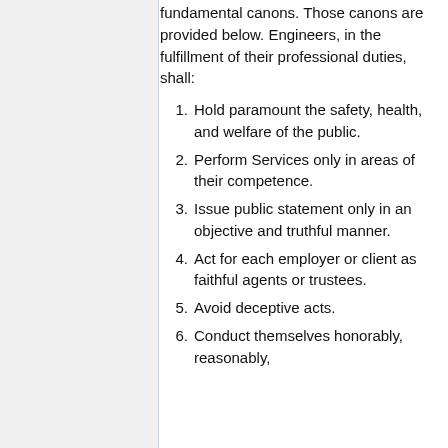fundamental canons. Those canons are provided below. Engineers, in the fulfillment of their professional duties, shall:
Hold paramount the safety, health, and welfare of the public.
Perform Services only in areas of their competence.
Issue public statement only in an objective and truthful manner.
Act for each employer or client as faithful agents or trustees.
Avoid deceptive acts.
Conduct themselves honorably, reasonably,